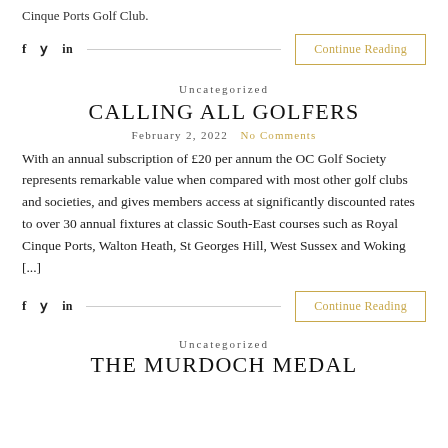Cinque Ports Golf Club.
f  y  in  ——  Continue Reading
Uncategorized
CALLING ALL GOLFERS
February 2, 2022  No Comments
With an annual subscription of £20 per annum the OC Golf Society represents remarkable value when compared with most other golf clubs and societies, and gives members access at significantly discounted rates to over 30 annual fixtures at classic South-East courses such as Royal Cinque Ports, Walton Heath, St Georges Hill, West Sussex and Woking [...]
f  y  in  ——  Continue Reading
Uncategorized
THE MURDOCH MEDAL